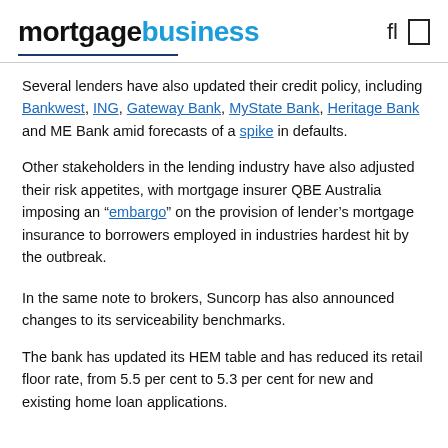mortgagebusiness
Several lenders have also updated their credit policy, including Bankwest, ING, Gateway Bank, MyState Bank, Heritage Bank and ME Bank amid forecasts of a spike in defaults.
Other stakeholders in the lending industry have also adjusted their risk appetites, with mortgage insurer QBE Australia imposing an “embargo” on the provision of lender’s mortgage insurance to borrowers employed in industries hardest hit by the outbreak.
In the same note to brokers, Suncorp has also announced changes to its serviceability benchmarks.
The bank has updated its HEM table and has reduced its retail floor rate, from 5.5 per cent to 5.3 per cent for new and existing home loan applications.